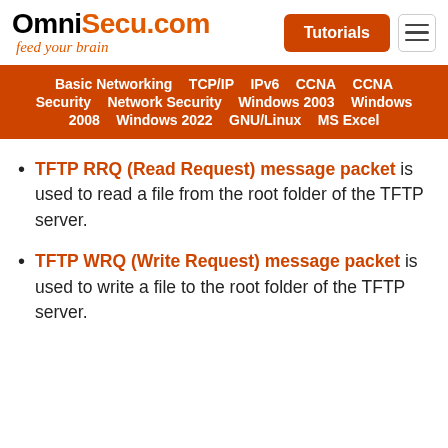OmniSecu.com feed your brain | Tutorials
Basic Networking  TCP/IP  IPv6  CCNA  CCNA Security  Network Security  Windows 2003  Windows 2008  Windows 2022  GNU/Linux  MS Excel
TFTP RRQ (Read Request) message packet is used to read a file from the root folder of the TFTP server.
TFTP WRQ (Write Request) message packet is used to write a file to the root folder of the TFTP server.